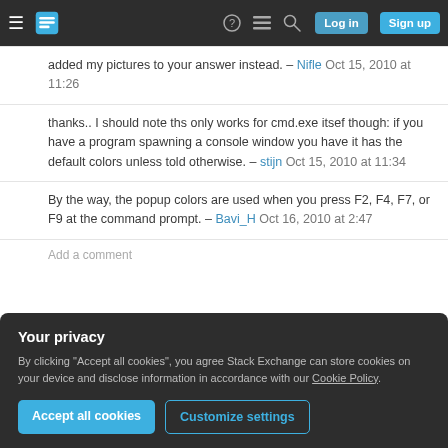Stack Exchange navigation bar with hamburger menu, logo, help, chat, search icons, Log in and Sign up buttons
added my pictures to your answer instead. – Nifle Oct 15, 2010 at 11:26
thanks.. I should note ths only works for cmd.exe itsef though: if you have a program spawning a console window you have it has the default colors unless told otherwise. – stijn Oct 15, 2010 at 11:34
By the way, the popup colors are used when you press F2, F4, F7, or F9 at the command prompt. – Bavi_H Oct 16, 2010 at 2:47
Add a comment
Your privacy
By clicking "Accept all cookies", you agree Stack Exchange can store cookies on your device and disclose information in accordance with our Cookie Policy.
Accept all cookies
Customize settings